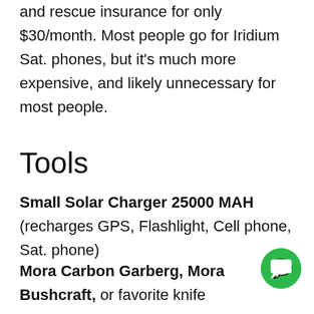and rescue insurance for only $30/month. Most people go for Iridium Sat. phones, but it's much more expensive, and likely unnecessary for most people.
Tools
Small Solar Charger 25000 MAH (recharges GPS, Flashlight, Cell phone, Sat. phone)
Mora Carbon Garberg, Mora Bushcraft, or favorite knife